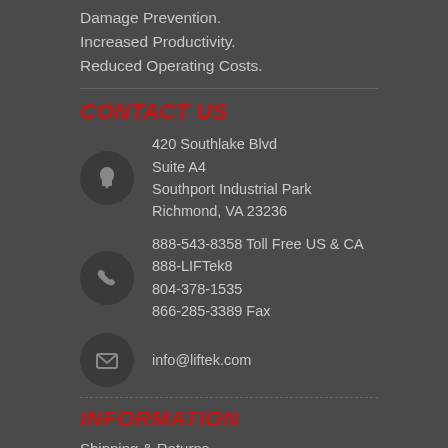Damage Prevention.
Increased Productivity.
Reduced Operating Costs.
CONTACT US
420 Southlake Blvd
Suite A4
Southport Industrial Park
Richmond, VA 23236
888-543-8358 Toll Free US & CA
888-LIFTek8
804-378-1535
866-285-3389 Fax
info@liftek.com
INFORMATION
Shipping & Returns
Privacy Notice
Contact Us